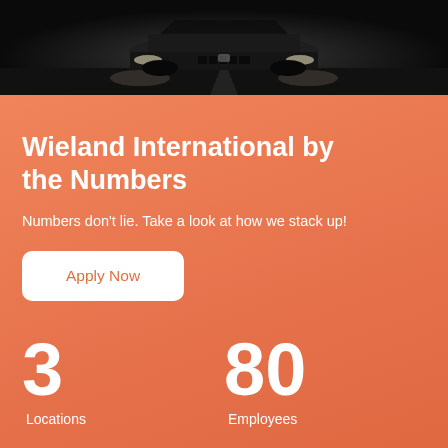[Figure (photo): Dark/nighttime photo of a black luxury car (appears to be a Cadillac or similar) on a road, viewed from the front-center]
Wieland International by the Numbers
Numbers don't lie. Take a look at how we stack up!
Apply Now
3
80
Locations
Employees